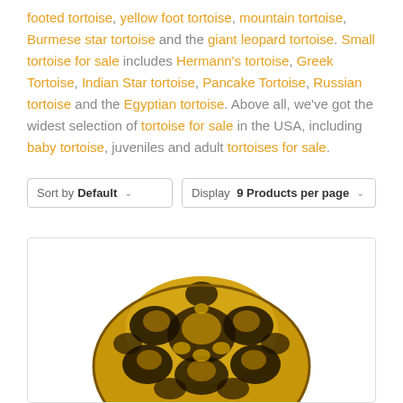footed tortoise, yellow foot tortoise, mountain tortoise, Burmese star tortoise and the giant leopard tortoise. Small tortoise for sale includes Hermann's tortoise, Greek Tortoise, Indian Star tortoise, Pancake Tortoise, Russian tortoise and the Egyptian tortoise. Above all, we've got the widest selection of tortoise for sale in the USA, including baby tortoise, juveniles and adult tortoises for sale.
Sort by Default | Display 9 Products per page
[Figure (photo): Close-up top view of a tortoise shell with yellow and dark brown/black patterned scutes]